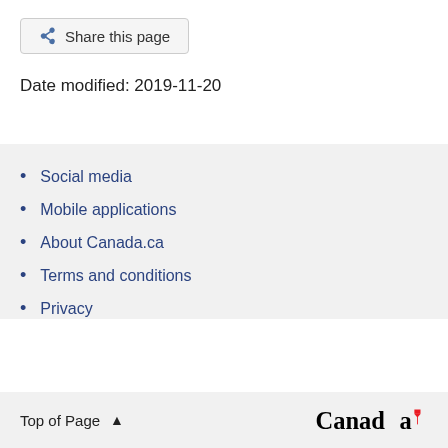Share this page
Date modified: 2019-11-20
Social media
Mobile applications
About Canada.ca
Terms and conditions
Privacy
Top of Page